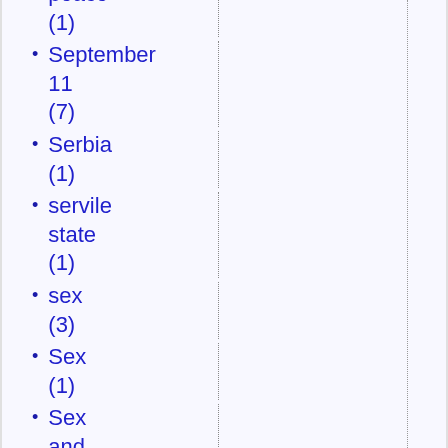peace (1)
September 11 (7)
Serbia (1)
servile state (1)
sex (3)
Sex (1)
Sex and the City (1)
sex education (5)
sex ratio at